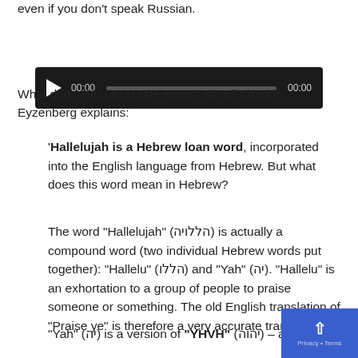even if you don't speak Russian.
[Figure (other): Audio player widget with play button, 00:00 start time, progress bar, and 00:00 end time on dark background]
What does HALLELUJAH mean? Dr. Eli Lizorkin-Eyzenberg explains:
'Hallelujah is a Hebrew loan word, incorporated into the English language from Hebrew. But what does this word mean in Hebrew?
The word “Hallelujah” (הללויה) is actually a compound word (two individual Hebrew words put together): “Hallelu” (הללו) and “Yah” (יה). “Hallelu” is an exhortation to a group of people to praise someone or something. The old English translation of “Praise ye” is therefore a very accurate tran
“Yah” (יה) is a version of “YHVH” (יהוה) – an D...